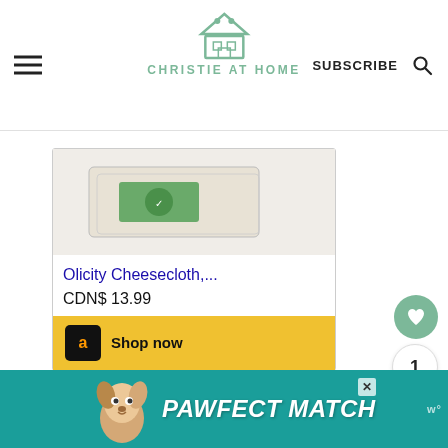CHRISTIE AT HOME
[Figure (screenshot): Product image of Olicity Cheesecloth on white background]
Olicity Cheesecloth,...
CDN$ 13.99
Shop now
[Figure (infographic): Advertisement banner: PAWFECT MATCH with dog illustration on teal background]